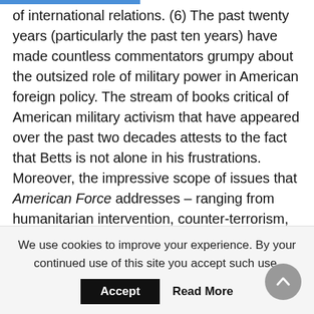of international relations. (6) The past twenty years (particularly the past ten years) have made countless commentators grumpy about the outsized role of military power in American foreign policy. The stream of books critical of American military activism that have appeared over the past two decades attests to the fact that Betts is not alone in his frustrations.   Moreover, the impressive scope of issues that American Force addresses – ranging from humanitarian intervention, counter-terrorism, nuclear proliferation, preventive war, counterinsurgency, China and Russia, to budgeting and civil-military
We use cookies to improve your experience. By your continued use of this site you accept such use.
Accept   Read More